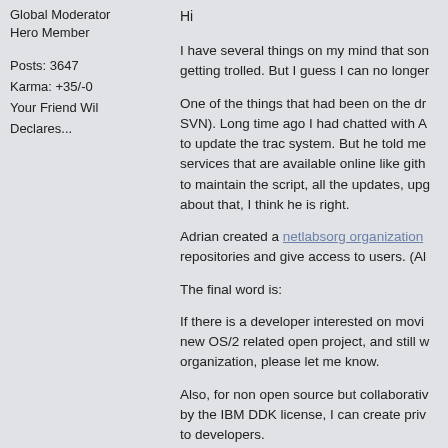Global Moderator
Hero Member
Posts: 3647
Karma: +35/-0
Your Friend Wil Declares...
Hi
I have several things on my mind that son getting trolled. But I guess I can no longer
One of the things that had been on the dr SVN). Long time ago I had chatted with A to update the trac system. But he told me services that are available online like gith to maintain the script, all the updates, upg about that, I think he is right.
Adrian created a netlabsorg organization repositories and give access to users. (Al
The final word is:
If there is a developer interested on movi new OS/2 related open project, and still w organization, please let me know.
Also, for non open source but collaborativ by the IBM DDK license, I can create priv to developers.
Regards